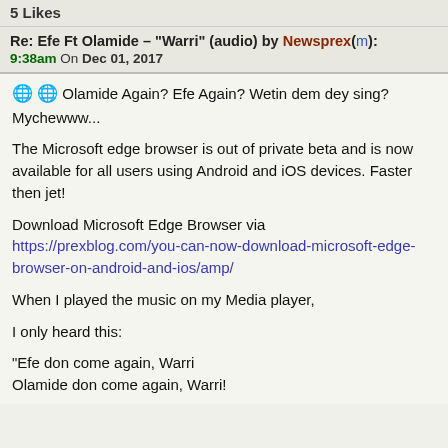5 Likes
Re: Efe Ft Olamide – "Warri" (audio) by Newsprex(m): 9:38am On Dec 01, 2017
🌐🌐 Olamide Again? Efe Again? Wetin dem dey sing? Mychewww...

The Microsoft edge browser is out of private beta and is now available for all users using Android and iOS devices. Faster then jet!

Download Microsoft Edge Browser via https://prexblog.com/you-can-now-download-microsoft-edge-browser-on-android-and-ios/amp/

When I played the music on my Media player,

I only heard this:

"Efe don come again, Warri
Olamide don come again, Warri!